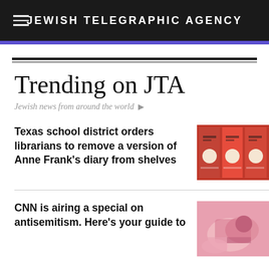JEWISH TELEGRAPHIC AGENCY
Trending on JTA
Jewish news from around the world ▶
Texas school district orders librarians to remove a version of Anne Frank's diary from shelves
CNN is airing a special on antisemitism. Here's your guide to